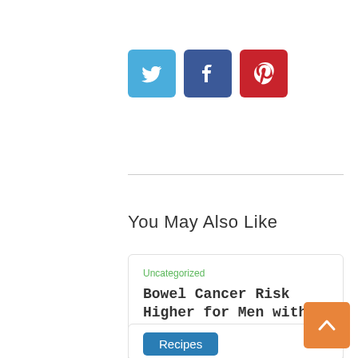[Figure (infographic): Three social media share buttons: Twitter (blue), Facebook (dark blue), Pinterest (red), each as rounded square icons with white logos]
You May Also Like
Uncategorized
Bowel Cancer Risk Higher for Men with Diabetes
by administrator
Recipes